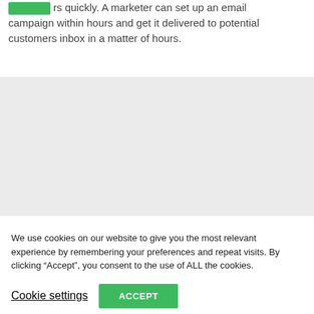customers quickly. A marketer can set up an email campaign within hours and get it delivered to potential customers inbox in a matter of hours.
[Figure (other): Gray placeholder image box]
We use cookies on our website to give you the most relevant experience by remembering your preferences and repeat visits. By clicking “Accept”, you consent to the use of ALL the cookies.
Cookie settings | ACCEPT